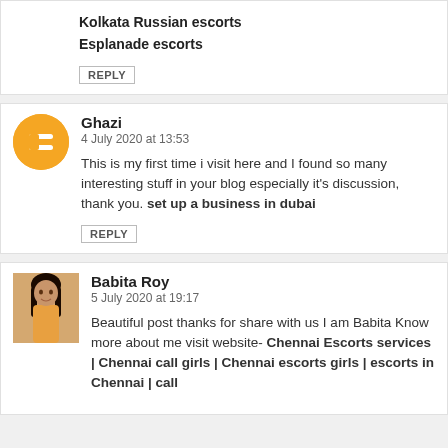Kolkata Russian escorts
Esplanade escorts
REPLY
Ghazi
4 July 2020 at 13:53
This is my first time i visit here and I found so many interesting stuff in your blog especially it's discussion, thank you. set up a business in dubai
REPLY
Babita Roy
5 July 2020 at 19:17
Beautiful post thanks for share with us I am Babita Know more about me visit website- Chennai Escorts services | Chennai call girls | Chennai escorts girls | escorts in Chennai | call
REPLY